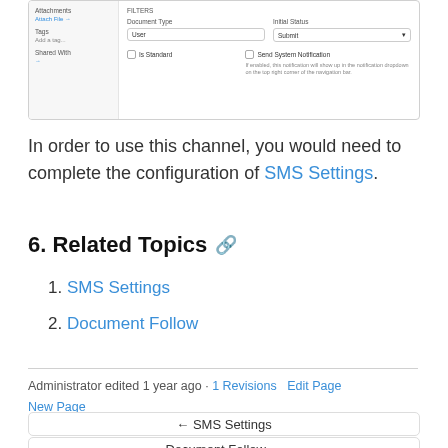[Figure (screenshot): Screenshot of a document configuration UI showing fields: Attach File link, Tags field, Shared With field on the left panel; and Document Type (User), Status (Submit), Is Standard checkbox, Send System Notification checkbox with helper text on the right panel.]
In order to use this channel, you would need to complete the configuration of SMS Settings.
6. Related Topics
1. SMS Settings
2. Document Follow
Administrator edited 1 year ago · 1 Revisions   Edit Page  New Page
← SMS Settings
Document Follow →